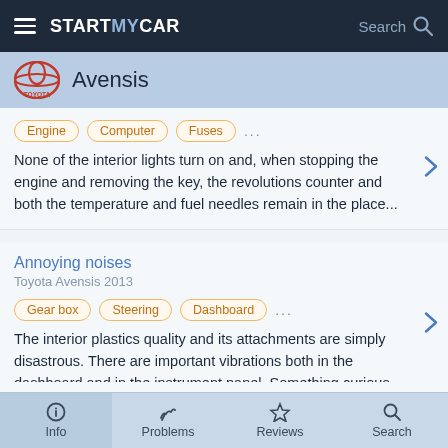STARTMYCAR  Search
[Figure (logo): Toyota logo with TOYOTA text and Avensis label]
Engine  Computer  Fuses  ...  None of the interior lights turn on and, when stopping the engine and removing the key, the revolutions counter and both the temperature and fuel needles remain in the place...
Annoying noises
Toyota Avensis 2013
Gear box  Steering  Dashboard  ...  The interior plastics quality and its attachments are simply disastrous. There are important vibrations both in the dashboard and in the instrument panel. Something curious...
Engine fissure
Toyota Avensis 2007
Info  Problems  Reviews  Search